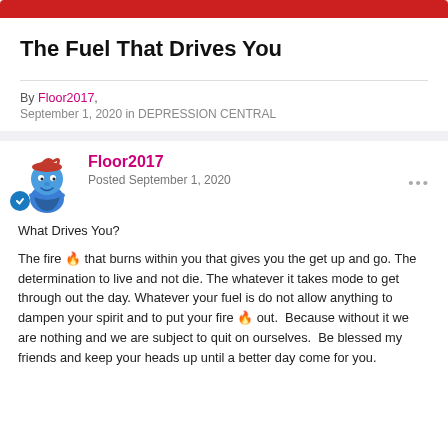The Fuel That Drives You
By Floor2017, September 1, 2020 in DEPRESSION CENTRAL
[Figure (illustration): Smurf character avatar image for user Floor2017]
Floor2017
Posted September 1, 2020
What Drives You?

The fire 🔥 that burns within you that gives you the get up and go. The determination to live and not die. The whatever it takes mode to get through out the day. Whatever your fuel is do not allow anything to dampen your spirit and to put your fire 🔥 out.  Because without it we are nothing and we are subject to quit on ourselves.  Be blessed my friends and keep your heads up until a better day come for you.